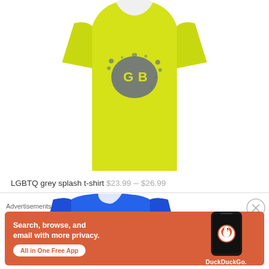[Figure (photo): Yellow LGBTQ grey splash t-shirt displayed on a mannequin torso, cropped at top (no head), bright yellow fabric with grey paint-splash graphic in center]
LGBTQ grey splash t-shirt $23.99 – $26.99
[Figure (photo): Blue classic t-shirt displayed on a headless mannequin, royal blue fabric with white arc text reading CLASSIC]
Advertisements
[Figure (infographic): DuckDuckGo advertisement banner with orange/red background. Text: Search, browse, and email with more privacy. All in One Free App. Shows smartphone with DuckDuckGo app logo and wordmark.]